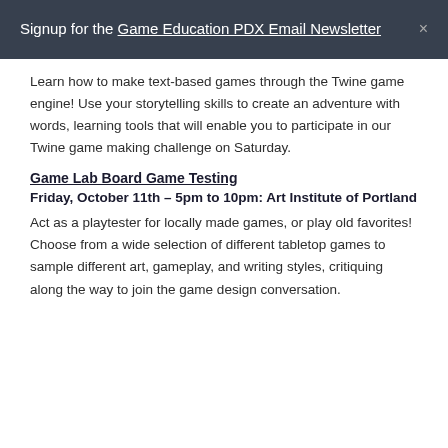Signup for the Game Education PDX Email Newsletter
Learn how to make text-based games through the Twine game engine! Use your storytelling skills to create an adventure with words, learning tools that will enable you to participate in our Twine game making challenge on Saturday.
Game Lab Board Game Testing
Friday, October 11th – 5pm to 10pm: Art Institute of Portland
Act as a playtester for locally made games, or play old favorites! Choose from a wide selection of different tabletop games to sample different art, gameplay, and writing styles, critiquing along the way to join the game design conversation.